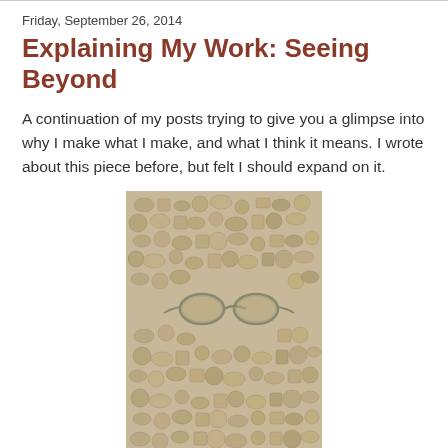Friday, September 26, 2014
Explaining My Work: Seeing Beyond
A continuation of my posts trying to give you a glimpse into why I make what I make, and what I think it means. I wrote about this piece before, but felt I should expand on it.
[Figure (photo): A densely packed assemblage artwork composed of numerous small cast or molded objects in beige/tan tones — coins, cylinders, squares, goggles, and other small forms covering the entire surface, with a pair of goggles visible near the center.]